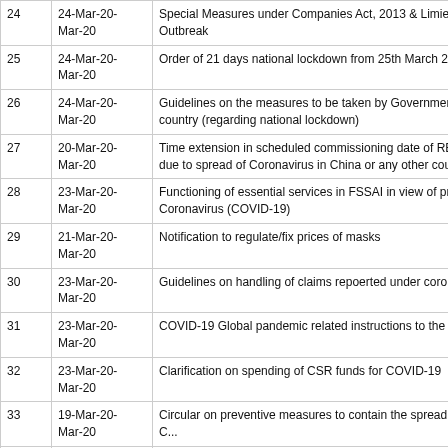| # | Date | Description |
| --- | --- | --- |
| 24 | 24-Mar-20-Mar-20 | Special Measures under Companies Act, 2013 & Limied L... Outbreak |
| 25 | 24-Mar-20-Mar-20 | Order of 21 days national lockdown from 25th March 2020 |
| 26 | 24-Mar-20-Mar-20 | Guidelines on the measures to be taken by Government fo... country (regarding national lockdown) |
| 27 | 20-Mar-20-Mar-20 | Time extension in scheduled commissioning date of RE pr... due to spread of Coronavirus in China or any other country |
| 28 | 23-Mar-20-Mar-20 | Functioning of essential services in FSSAI in view of preve... Coronavirus (COVID-19) |
| 29 | 21-Mar-20-Mar-20 | Notification to regulate/fix prices of masks |
| 30 | 23-Mar-20-Mar-20 | Guidelines on handling of claims repoerted under corona v... |
| 31 | 23-Mar-20-Mar-20 | COVID-19 Global pandemic related instructions to the life i... |
| 32 | 23-Mar-20-Mar-20 | Clarification on spending of CSR funds for COVID-19 |
| 33 | 19-Mar-20-Mar-20 | Circular on preventive measures to contain the spread of C... |
| 34 | 19-Mar-20-Mar-20 | Relaxation from compliance with certain provisions of SEB... Regulations, 2015 due to COVID-19 virus pandemic |
| 35 | 19-Mar-20- | Advisory on preventive measures to contain the spread of... |